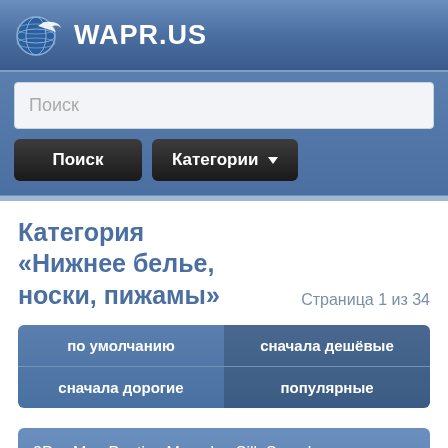WAPR.US
Поиск
Поиск  Категории
Категория «Нижнее белье, носки, пижамы»  Страница 1 из 34
по умолчанию
сначала дешёвые
сначала дорогие
популярные
2Pcs Men Panties Mens Ice Silk Seamless Underwear Solid Color Ultra-thin Breathable Boxer Shorts For Male